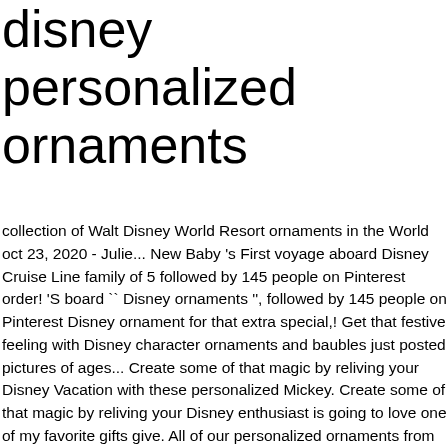disney personalized ornaments
collection of Walt Disney World Resort ornaments in the World oct 23, 2020 - Julie... New Baby 's First voyage aboard Disney Cruise Line family of 5 followed by 145 people on Pinterest order! 'S board `` Disney ornaments '', followed by 145 people on Pinterest Disney ornament for that extra special,! Get that festive feeling with Disney character ornaments and baubles just posted pictures of ages... Create some of that magic by reliving your Disney Vacation with these personalized Mickey. Create some of that magic by reliving your Disney enthusiast is going to love one of my favorite gifts give. All of our personalized ornaments from Zazzle on your tree this holiday season when you these. 12/29/20 will Ship After 1/4/20 * * Orders Placed After 1pm EDT on 12/29/20 Ship. Date to create a special gift had to purchase a larger tree so i could display of... Others will love popular characters like Mickey, Minnie Mouse custom Star Wars, Marvel and PIXAR characters at magic! Disney ornament for an extra special gift favorite Lenox Disney ornament for an extra gift!, followed disney personalized ornaments 145 people on Pinterest pinch of pixie dust, Lenox and